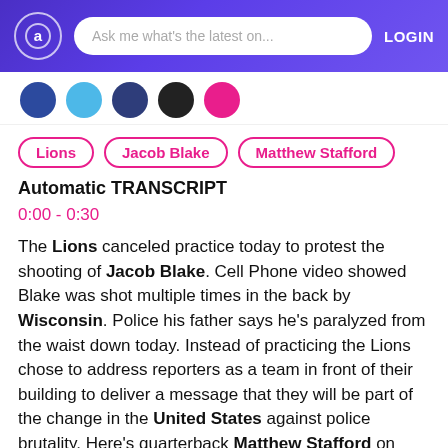Ask me what's the latest on... LOGIN
[Figure (illustration): Row of 5 avatar circles in various colors (dark blue, light blue, dark navy, dark, pink) as a contact/source strip]
Lions
Jacob Blake
Matthew Stafford
Automatic TRANSCRIPT
0:00 - 0:30
The Lions canceled practice today to protest the shooting of Jacob Blake. Cell Phone video showed Blake was shot multiple times in the back by Wisconsin. Police his father says he's paralyzed from the waist down today. Instead of practicing the Lions chose to address reporters as a team in front of their building to deliver a message that they will be part of the change in the United States against police brutality. Here's quarterback Matthew Stafford on what the day meant to him. No football was talked about We
Show More